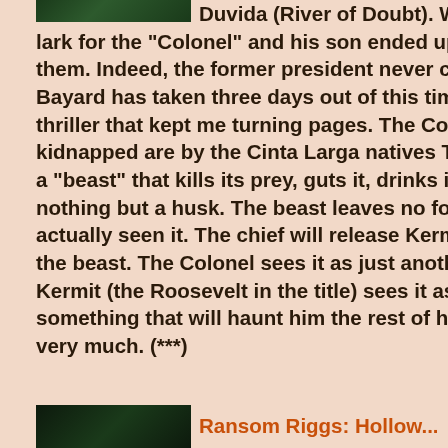[Figure (illustration): Dark green book cover thumbnail at top left, partially visible]
Duvida (River of Doubt). What was supposed to be a lark for the "Colonel" and his son ended up almost killing both of them. Indeed, the former president never completely recovered. Bayard has taken three days out of this time period to write a fictional thriller that kept me turning pages. The Colonel (Teddy) and Kermit kidnapped are by the Cinta Larga natives The tribe is being ravaged by a "beast" that kills its prey, guts it, drinks its blood, and then leaves nothing but a husk. The beast leaves no footprints, and no one has actually seen it. The chief will release Kermit and his father if they kill the beast. The Colonel sees it as just another hunting expedition, but Kermit (the Roosevelt in the title) sees it as something much more, something that will haunt him the rest of his life. I enjoyed this book very much. (***)
[Figure (illustration): Dark book cover thumbnail at bottom left, partially visible]
Ransom Riggs: Hollow...